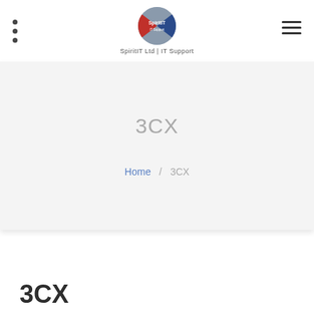[Figure (logo): SpiritIT logo — circular badge with grey, red, and blue sections and white text 'SpiritIT' inside]
SpiritIT Ltd | IT Support
3CX
Home / 3CX
3CX